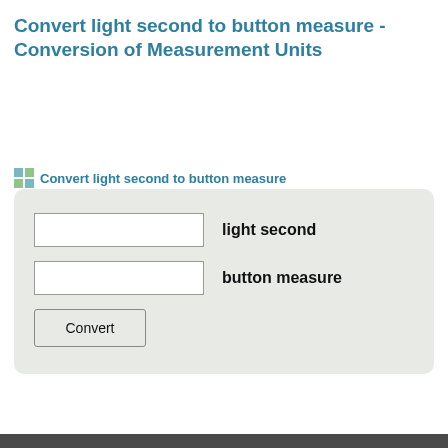Convert light second to button measure - Conversion of Measurement Units
Convert light second to button measure
[Figure (other): Unit converter widget with two input fields labeled 'light second' and 'button measure', and a Convert button, inside a rounded gray box]